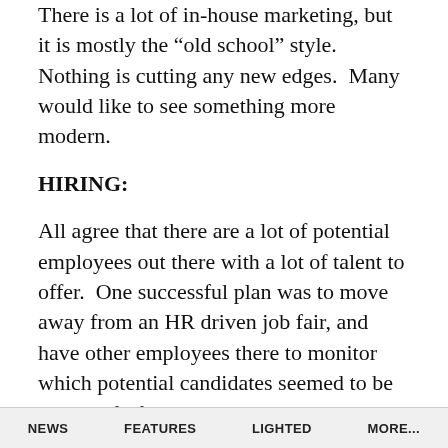There is a lot of in-house marketing, but it is mostly the “old school” style. Nothing is cutting any new edges. Many would like to see something more modern.
HIRING:
All agree that there are a lot of potential employees out there with a lot of talent to offer. One successful plan was to move away from an HR driven job fair, and have other employees there to monitor which potential candidates seemed to be the best fit for the company. Also, raising a company’s profile at nearby universities is a huge help to find
NEWS   FEATURES   LIGHTED   MORE...